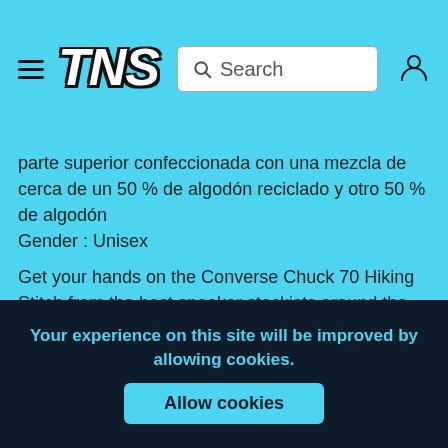TNS — Search bar — User icon
parte superior confeccionada con una mezcla de cerca de un 50 % de algodón reciclado y otro 50 % de algodón
Gender : Unisex
Get your hands on the Converse Chuck 70 Hiking Stitch from the best sneaker stockists around the world.
You could also like
Your experience on this site will be improved by allowing cookies.